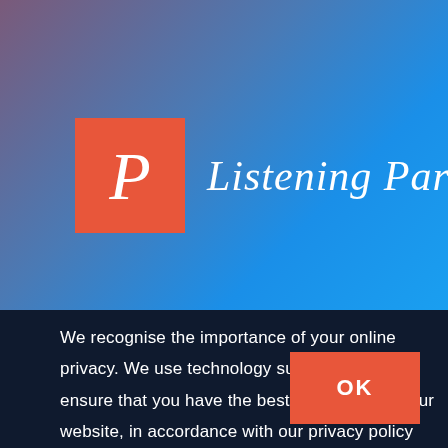[Figure (logo): Listening Partnership logo: red/salmon square with white italic serif P letter, followed by cursive white text 'Listening Partnership' on blue gradient background]
We recognise the importance of your online privacy. We use technology such as cookies to ensure that you have the best experience on our website, in accordance with our privacy policy